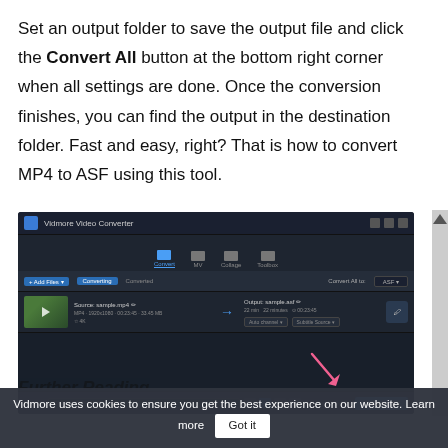Set an output folder to save the output file and click the Convert All button at the bottom right corner when all settings are done. Once the conversion finishes, you can find the output in the destination folder. Fast and easy, right? That is how to convert MP4 to ASF using this tool.
[Figure (screenshot): Screenshot of Vidmore Video Converter software showing Convert tab with a video file loaded, output format set to ASF, and Convert All button highlighted with a pink arrow in the bottom right corner.]
Vidmore uses cookies to ensure you get the best experience on our website. Learn more   Got it
Further Reading